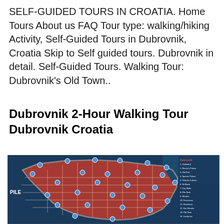SELF-GUIDED TOURS IN CROATIA. Home Tours About us FAQ Tour type: walking/hiking Activity, Self-Guided Tours in Dubrovnik, Croatia Skip to Self guided tours. Dubrovnik in detail. Self-Guided Tours. Walking Tour: Dubrovnik's Old Town..
Dubrovnik 2-Hour Walking Tour Dubrovnik Croatia
[Figure (map): A map of Dubrovnik's Old Town showing numbered tourist points of interest, with the old city outlined in red/pink on a dark blue background representing the sea. 'PILE' is labeled on the left side. A legend/list appears on the right side of the map.]